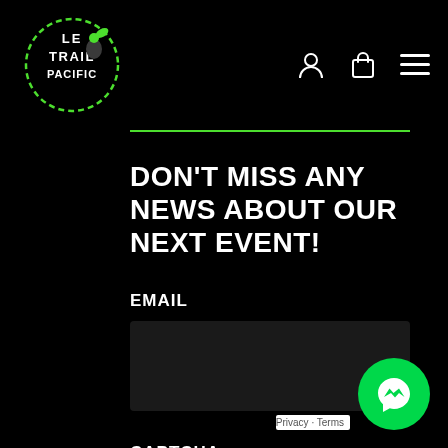[Figure (logo): Le Trail Pacific logo with a runner silhouette and green leaf motif, white text on black background]
[Figure (other): Navigation icons: user account (person), shopping bag, and hamburger menu, in white on black background]
DON'T MISS ANY NEWS ABOUT OUR NEXT EVENT!
EMAIL
CAPTCHA
[Figure (other): Green Facebook Messenger bubble icon, bottom right corner]
Privacy - Terms